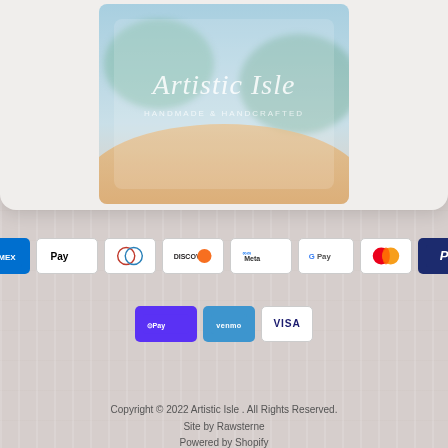[Figure (logo): Artistic Isle logo on decorative tropical background, partially visible at top of page]
[Figure (infographic): Row of payment method badges: American Express, Apple Pay, Diners Club, Discover, Meta Pay, Google Pay, Mastercard, PayPal, Shop Pay, Venmo, Visa]
Search
Copyright © 2022 Artistic Isle . All Rights Reserved.
Site by Rawsterne
Powered by Shopify